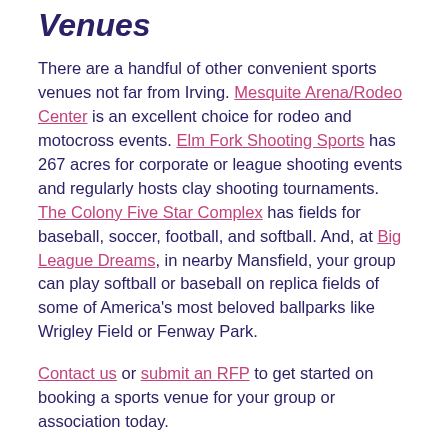Venues
There are a handful of other convenient sports venues not far from Irving. Mesquite Arena/Rodeo Center is an excellent choice for rodeo and motocross events. Elm Fork Shooting Sports has 267 acres for corporate or league shooting events and regularly hosts clay shooting tournaments. The Colony Five Star Complex has fields for baseball, soccer, football, and softball. And, at Big League Dreams, in nearby Mansfield, your group can play softball or baseball on replica fields of some of America's most beloved ballparks like Wrigley Field or Fenway Park.
Contact us or submit an RFP to get started on booking a sports venue for your group or association today.